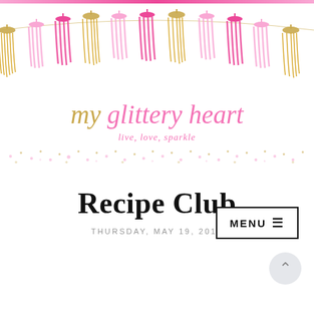[Figure (illustration): Decorative tassel garland banner with pink, hot pink, and gold glitter tassels strung on a string across the top of the page]
my glittery heart
live, love, sparkle
[Figure (illustration): Decorative glitter dot border/divider with pink and gold sparkle dots]
MENU ☰
Recipe Club
THURSDAY, MAY 19, 2016